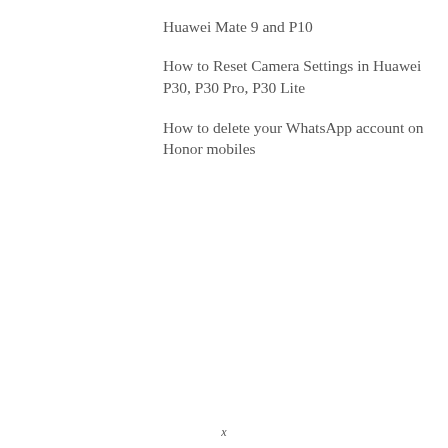Huawei Mate 9 and P10
How to Reset Camera Settings in Huawei P30, P30 Pro, P30 Lite
How to delete your WhatsApp account on Honor mobiles
x